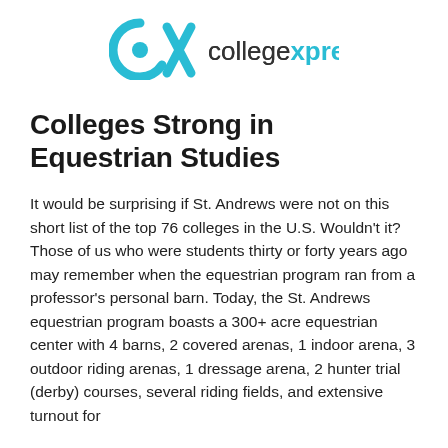[Figure (logo): CollegeXpress logo with teal CX icon and 'collegexpress' text in teal and dark gray]
Colleges Strong in Equestrian Studies
It would be surprising if St. Andrews were not on this short list of the top 76 colleges in the U.S. Wouldn't it? Those of us who were students thirty or forty years ago may remember when the equestrian program ran from a professor's personal barn. Today, the St. Andrews equestrian program boasts a 300+ acre equestrian center with 4 barns, 2 covered arenas, 1 indoor arena, 3 outdoor riding arenas, 1 dressage arena, 2 hunter trial (derby) courses, several riding fields, and extensive turnout for